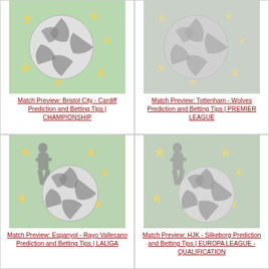[Figure (illustration): Soccer ball with stars on green background - top left card image]
Match Preview: Bristol City - Cardiff Prediction and Betting Tips | CHAMPIONSHIP
[Figure (illustration): Soccer ball with stars on green background - top right card image (greyed out)]
Match Preview: Tottenham - Wolves Prediction and Betting Tips | PREMIER LEAGUE
[Figure (illustration): Soccer player kicking ball with stars on green background - bottom left card image]
Match Preview: Espanyol - Rayo Vallecano Prediction and Betting Tips | LALIGA
[Figure (illustration): Soccer player kicking ball with stars on green background - bottom right card image]
Match Preview: HJK - Silkeborg Prediction and Betting Tips | EUROPA LEAGUE - QUALIFICATION